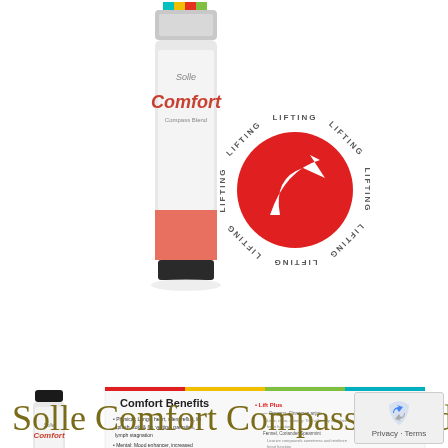[Figure (photo): Solle Comfort Compass Blend product bottle with red lifting logo badge on white background]
[Figure (photo): Small Solle Comfort roller bottle product alongside a brochure showing Comfort Benefits text]
Solle Comfort Compass Blend
[Figure (other): Google reCAPTCHA privacy badge with Privacy - Terms text]